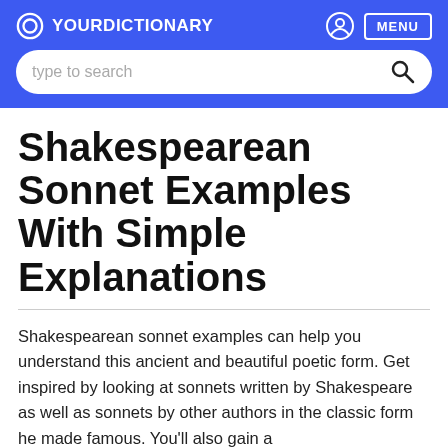YOUR DICTIONARY
Shakespearean Sonnet Examples With Simple Explanations
Shakespearean sonnet examples can help you understand this ancient and beautiful poetic form. Get inspired by looking at sonnets written by Shakespeare as well as sonnets by other authors in the classic form he made famous. You'll also gain a